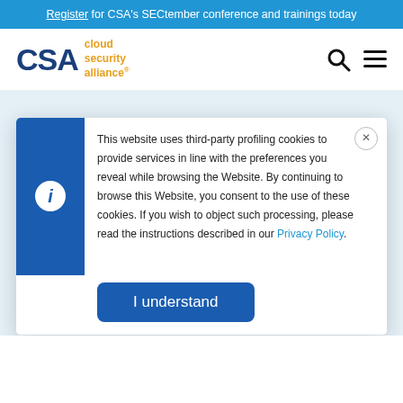Register for CSA's SECtember conference and trainings today
[Figure (logo): CSA Cloud Security Alliance logo with blue CSA text and orange 'cloud security alliance®' tagline]
This website uses third-party profiling cookies to provide services in line with the preferences you reveal while browsing the Website. By continuing to browse this Website, you consent to the use of these cookies. If you wish to object such processing, please read the instructions described in our Privacy Policy.
I understand